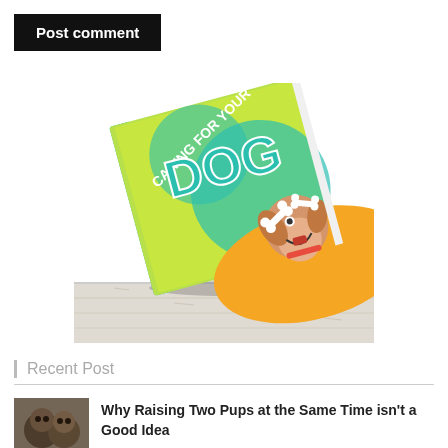Post comment
[Figure (illustration): 3D book mockup titled 'Caring for Your Dog' with a cartoon dog holding a bone, displayed on a white wooden shelf. Book cover is teal/green/yellow with orange accent.]
Recent Post
[Figure (photo): Small thumbnail photo of two puppies]
Why Raising Two Pups at the Same Time isn't a Good Idea